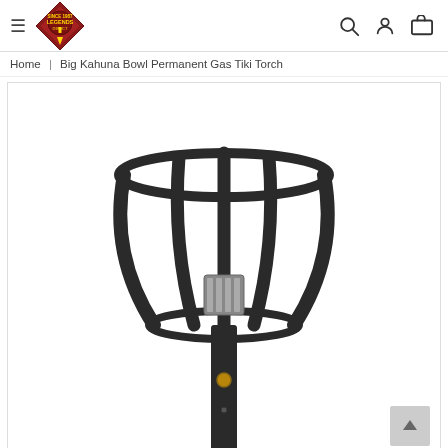Legends — Big Kahuna Bowl Permanent Gas Tiki Torch
Home | Big Kahuna Bowl Permanent Gas Tiki Torch
[Figure (photo): Black metal bowl-shaped gas tiki torch head on a pole, showing the burner element inside the cage-like bowl structure with a brass fitting on the pole.]